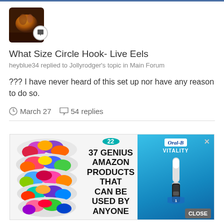[Figure (photo): User avatar thumbnail showing a warm/orange toned image, with a speech bubble icon overlay at bottom right]
What Size Circle Hook- Live Eels
heyblue34 replied to Jollyrodger's topic in Main Forum
??? I have never heard of this set up nor have any reason to do so.
March 27  54 replies
[Figure (infographic): Advertisement showing colorful hair scrunchies on the left, badge saying 22, bold text reading '37 GENIUS AMAZON PRODUCTS THAT CAN BE USED BY ANYONE' in center, and Oral-B Vitality electric toothbrush product on the right with a CLOSE button]